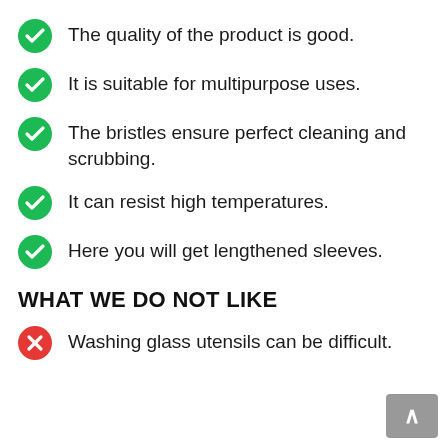The quality of the product is good.
It is suitable for multipurpose uses.
The bristles ensure perfect cleaning and scrubbing.
It can resist high temperatures.
Here you will get lengthened sleeves.
WHAT WE DO NOT LIKE
Washing glass utensils can be difficult.